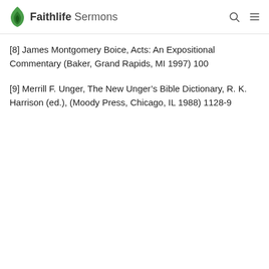Faithlife Sermons
[8] James Montgomery Boice, Acts: An Expositional Commentary (Baker, Grand Rapids, MI 1997) 100
[9] Merrill F. Unger, The New Unger’s Bible Dictionary, R. K. Harrison (ed.), (Moody Press, Chicago, IL 1988) 1128-9